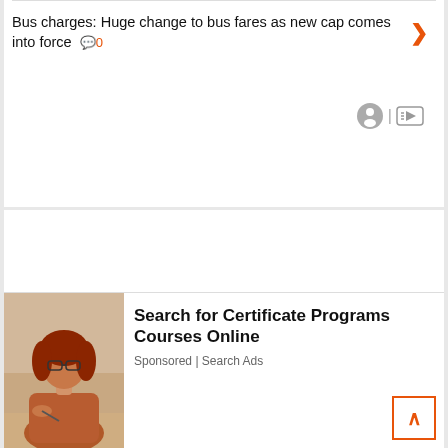Bus charges: Huge change to bus fares as new cap comes into force 0
[Figure (screenshot): Advertisement placeholder box with ad attribution icons (person icon and play icon)]
[Figure (photo): Woman with glasses and red/brown hair sitting at desk writing, wearing brown top]
Search for Certificate Programs Courses Online
Sponsored | Search Ads